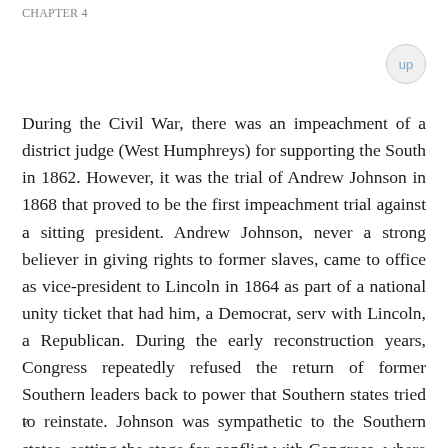CHAPTER 4
During the Civil War, there was an impeachment of a district judge (West Humphreys) for supporting the South in 1862. However, it was the trial of Andrew Johnson in 1868 that proved to be the first impeachment trial against a sitting president. Andrew Johnson, never a strong believer in giving rights to former slaves, came to office as vice-president to Lincoln in 1864 as part of a national unity ticket that had him, a Democrat, serv with Lincoln, a Republican. During the early reconstruction years, Congress repeatedly refused the return of former Southern leaders back to power that Southern states tried to reinstate. Johnson was sympathetic to the Southern states, setting the stage for conflict with Congress, where they eventually limited his power to shape his cabinet by passing the Tenure of Office Act that prohibited Johnson from firing
v